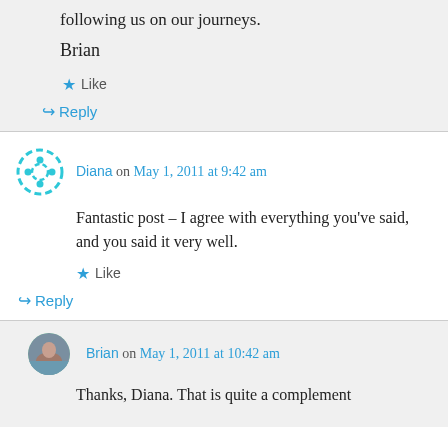following us on our journeys.
Brian
Like
Reply
Diana on May 1, 2011 at 9:42 am
Fantastic post – I agree with everything you've said, and you said it very well.
Like
Reply
Brian on May 1, 2011 at 10:42 am
Thanks, Diana. That is quite a complement